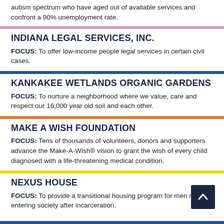autism spectrum who have aged out of available services and confront a 90% unemployment rate.
INDIANA LEGAL SERVICES, INC.
FOCUS: To offer low-income people legal services in certain civil cases.
KANKAKEE WETLANDS ORGANIC GARDENS
FOCUS: To nurture a neighborhood where we value, care and respect our 16,000 year old soil and each other.
MAKE A WISH FOUNDATION
FOCUS: Tens of thousands of volunteers, donors and supporters advance the Make-A-Wish® vision to grant the wish of every child diagnosed with a life-threatening medical condition.
NEXUS HOUSE
FOCUS: To provide a transitional housing program for men re-entering society after incarceration.